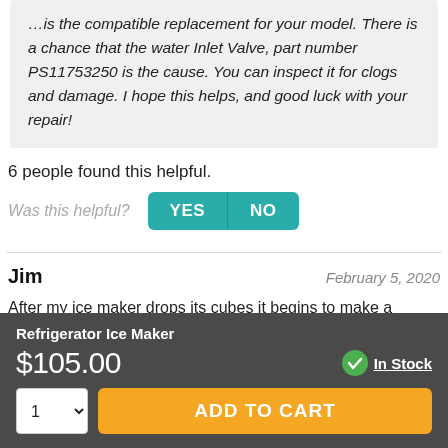...is the compatible replacement for your model. There is a chance that the water Inlet Valve, part number PS11753250 is the cause. You can inspect it for clogs and damage. I hope this helps, and good luck with your repair!
6 people found this helpful.
Was this helpful?
Jim
February 5, 2020
After my ice maker drops its cubes it begins to make a
Refrigerator Ice Maker
$105.00
In Stock
ADD TO CART